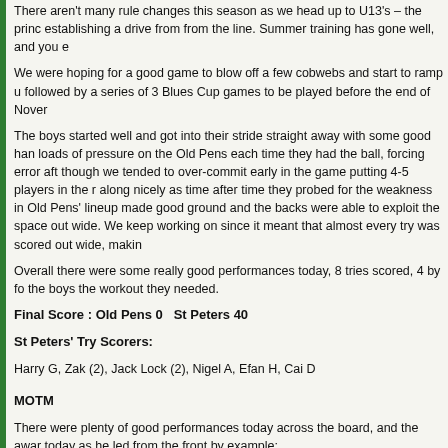There aren't many rule changes this season as we head up to U13's – the princ establishing a drive from from the line. Summer training has gone well, and you e
We were hoping for a good game to blow off a few cobwebs and start to ramp u followed by a series of 3 Blues Cup games to be played before the end of Nover
The boys started well and got into their stride straight away with some good han loads of pressure on the Old Pens each time they had the ball, forcing error afte though we tended to over-commit early in the game putting 4-5 players in the r along nicely as time after time they probed for the weakness in Old Pens' lineup made good ground and the backs were able to exploit the space out wide. We keep working on since it meant that almost every try was scored out wide, makin
Overall there were some really good performances today, 8 tries scored, 4 by fo the boys the workout they needed.
Final Score : Old Pens 0   St Peters 40
St Peters' Try Scorers:
Harry G, Zak (2), Jack Lock (2), Nigel A, Efan H, Cai D
MOTM
There were plenty of good performances today across the board, and the awar today as he led from the front by example:
Jack(thehitman)Lock.
Next week we face Rumney, who will undoubtedly apply more pressure and th openers go, this was a great start.